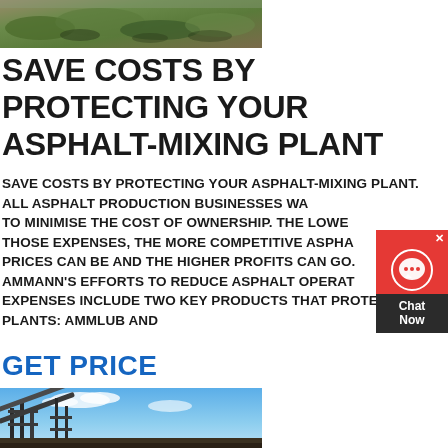[Figure (photo): Aerial/ground view of rocky hillside terrain with sparse vegetation, brown and green tones]
SAVE COSTS BY PROTECTING YOUR ASPHALT-MIXING PLANT
SAVE COSTS BY PROTECTING YOUR ASPHALT-MIXING PLANT. ALL ASPHALT PRODUCTION BUSINESSES WA[NT] TO MINIMISE THE COST OF OWNERSHIP. THE LOWE[R] THOSE EXPENSES, THE MORE COMPETITIVE ASPHA[LT] PRICES CAN BE AND THE HIGHER PROFITS CAN GO. AMMANN'S EFFORTS TO REDUCE ASPHALT OPERAT[ING] EXPENSES INCLUDE TWO KEY PRODUCTS THAT PROTECT PLANTS: AMMLUB AND
GET PRICE
[Figure (photo): Asphalt mixing plant with industrial conveyor structures against a blue sky with clouds]